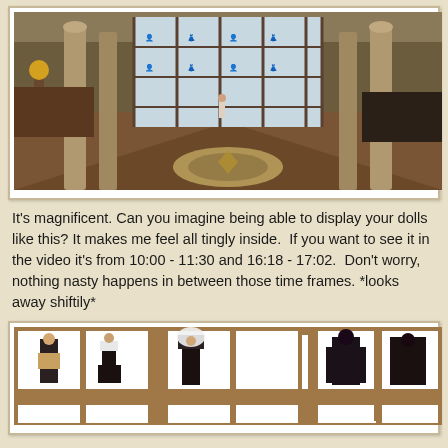[Figure (photo): Grand hall interior with tall columns, large grid windows displaying doll figures, ornate mosaic floor medallion, a figure running in background, flower arrangement on left table, dark furniture]
It's magnificent. Can you imagine being able to display your dolls like this? It makes me feel all tingly inside.  If you want to see it in the video it's from 10:00 - 11:30 and 16:18 - 17:02.  Don't worry, nothing nasty happens in between those time frames. *looks away shiftily*
[Figure (photo): Grid display cabinet with multiple doll figures dressed in various outfits - gothic, black, white, and colorful fashion dolls displayed in brown-framed grid compartments]